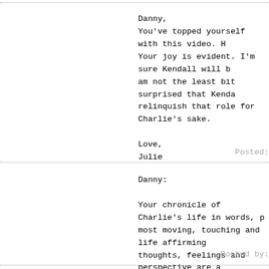Danny,
You've topped yourself with this video. H
Your joy is evident. I'm sure Kendall will b
am not the least bit surprised that Kenda
relinquish that role for Charlie's sake.

Love,
Julie
Posted:
Danny:

Your chronicle of Charlie's life in words, p
most moving, touching and life affirming
thoughts, feelings and perspective are a
wishing you, Charlie and Kendall all our b
healthy family soon.
With love, Kevin, Martie & Sonny
Posted by: